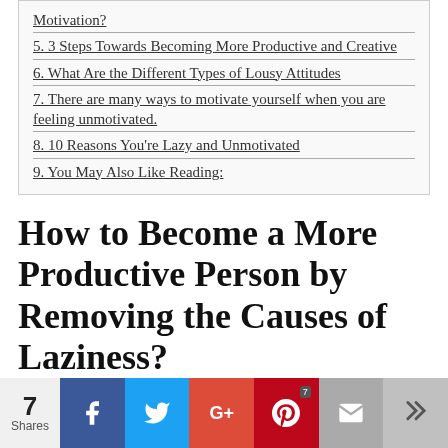Motivation?
5. 3 Steps Towards Becoming More Productive and Creative
6. What Are the Different Types of Lousy Attitudes
7. There are many ways to motivate yourself when you are feeling unmotivated.
8. 10 Reasons You're Lazy and Unmotivated
9. You May Also Like Reading:
How to Become a More Productive Person by Removing the Causes of Laziness?
Laziness is mostly seen in people who are not living up
7 Shares | Facebook | Twitter | Google+ | Pinterest | Email | Crown